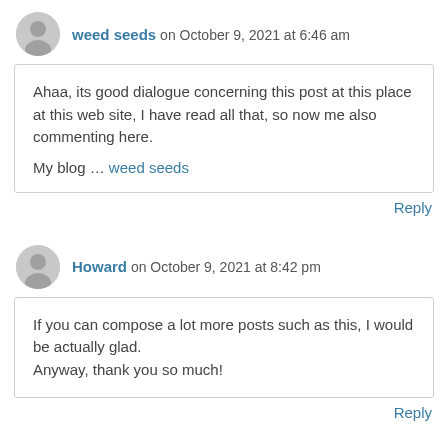weed seeds on October 9, 2021 at 6:46 am
Ahaa, its good dialogue concerning this post at this place at this web site, I have read all that, so now me also commenting here.

My blog … weed seeds
Reply
Howard on October 9, 2021 at 8:42 pm
If you can compose a lot more posts such as this, I would be actually glad.
Anyway, thank you so much!
Reply
cannabis licence on October 12, 2021 at 8:40